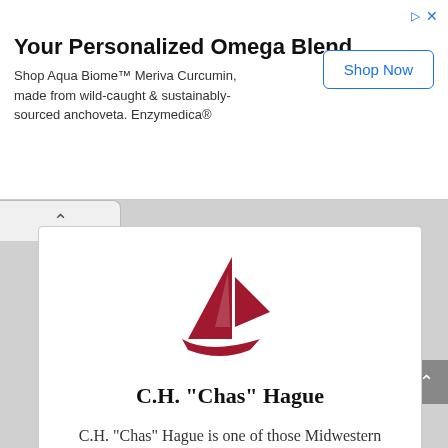Your Personalized Omega Blend
Shop Aqua Biome™ Meriva Curcumin, made from wild-caught & sustainably-sourced anchoveta. Enzymedica®
[Figure (illustration): Dark red sailboat logo]
C.H. "Chas" Hague
C.H. "Chas" Hague is one of those Midwestern sailors who spends too much time reading and not enough time sailing. He sails his O'Day daysailer on that little lake you can see out the starboard side of the aircraft when landing at O'Hare.